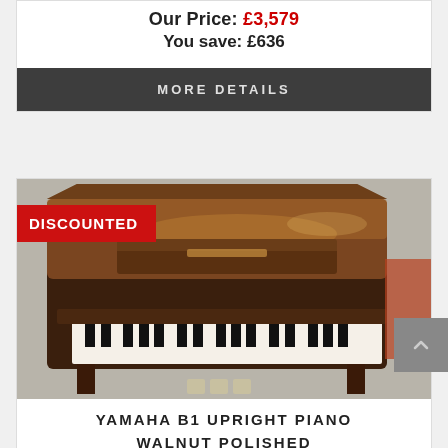Our Price: £3,579
You save: £636
MORE DETAILS
[Figure (photo): Yamaha B1 Upright Piano in Walnut Polished finish, shown from a front-side angle with lid open, with a red DISCOUNTED badge overlay in the top-left corner.]
YAMAHA B1 UPRIGHT PIANO WALNUT POLISHED